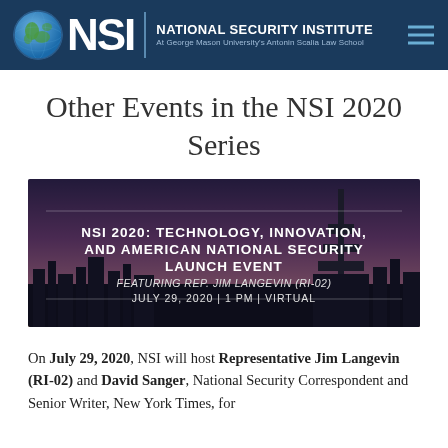NSI | NATIONAL SECURITY INSTITUTE | At George Mason University's Antonin Scalia Law School
Other Events in the NSI 2020 Series
[Figure (photo): Event banner with city skyline at dusk background. Text reads: NSI 2020: TECHNOLOGY, INNOVATION, AND AMERICAN NATIONAL SECURITY LAUNCH EVENT. FEATURING REP. JIM LANGEVIN (RI-02). JULY 29, 2020 | 1 PM | VIRTUAL]
On July 29, 2020, NSI will host Representative Jim Langevin (RI-02) and David Sanger, National Security Correspondent and Senior Writer, New York Times, for